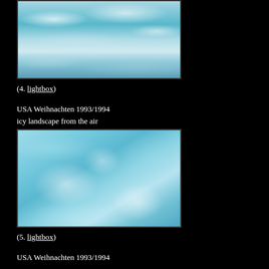[Figure (photo): Aerial photograph of an icy landscape with clouds and snow/ice formations viewed from above, blue-white tones]
(4. lightbox)
USA Weihnachten 1993/1994
icy landscape from the air
[Figure (photo): Aerial photograph of an icy landscape from the air, predominantly light blue tones with white ice formations and dark land features]
(5. lightbox)
USA Weihnachten 1993/1994